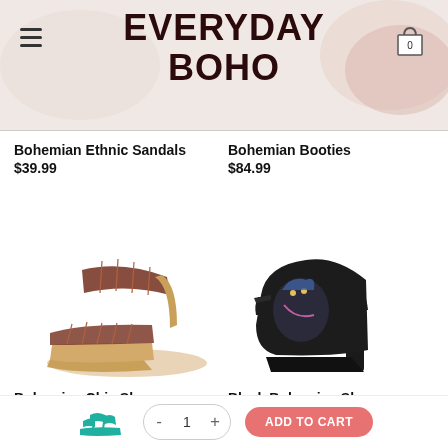EVERYDAY BOHO
Bohemian Ethnic Sandals
$39.99
Bohemian Booties
$84.99
[Figure (photo): Bohemian woven wedge sandal with braided ankle strap, tan/brown colors]
[Figure (photo): Black bohemian closed-toe heeled shoe with colorful art print on the front]
Bohemian Chic Shoes
$44.99 – $48.99
Black Bohemian Shoes
$72.99
[Figure (photo): Mini teal strappy sandal shown in bottom bar]
ADD TO CART